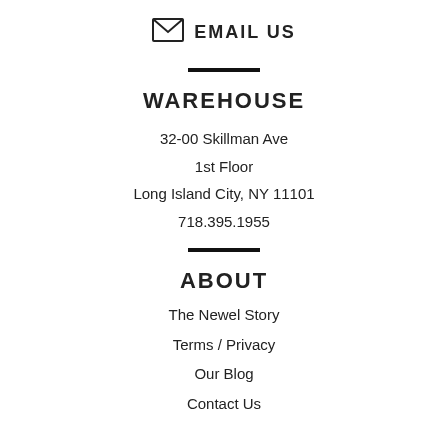[Figure (illustration): Envelope/mail icon followed by EMAIL US text]
WAREHOUSE
32-00 Skillman Ave
1st Floor
Long Island City, NY 11101
718.395.1955
ABOUT
The Newel Story
Terms / Privacy
Our Blog
Contact Us